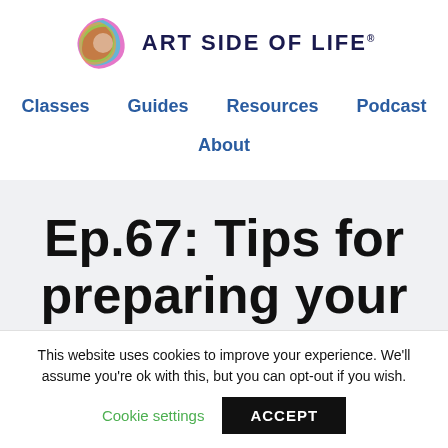[Figure (logo): Art Side of Life logo with colorful swirl graphic and bold navy text 'ART SIDE OF LIFE']
Classes   Guides   Resources   Podcast   About
Ep.67: Tips for preparing your
This website uses cookies to improve your experience. We'll assume you're ok with this, but you can opt-out if you wish.
Cookie settings   ACCEPT